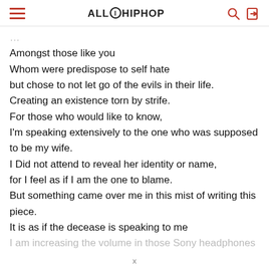ALLHIPHOP
Amongst those like you
Whom were predispose to self hate
but chose to not let go of the evils in their life.
Creating an existence torn by strife.
For those who would like to know,
I'm speaking extensively to the one who was supposed to be my wife.
I Did not attend to reveal her identity or name,
for I feel as if I am the one to blame.
But something came over me in this mist of writing this piece.
It is as if the decease is speaking to me
I am increasing the volume in those Sony headphones